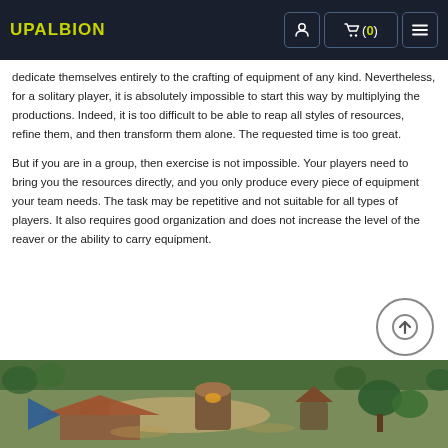UPALBION  (0)
dedicate themselves entirely to the crafting of equipment of any kind. Nevertheless, for a solitary player, it is absolutely impossible to start this way by multiplying the productions. Indeed, it is too difficult to be able to reap all styles of resources, refine them, and then transform them alone. The requested time is too great.
But if you are in a group, then exercise is not impossible. Your players need to bring you the resources directly, and you only produce every piece of equipment your team needs. The task may be repetitive and not suitable for all types of players. It also requires good organization and does not increase the level of the reaver or the ability to carry equipment.
[Figure (screenshot): Aerial/isometric view of a fantasy game village with buildings, trees, and paths in warm earthy tones. Appears to be from Albion Online.]